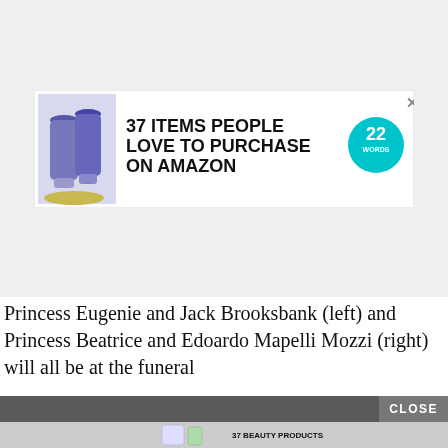[Figure (screenshot): Advertisement banner: '37 ITEMS PEOPLE LOVE TO PURCHASE ON AMAZON' with blue spray bottle images and a teal '22 WORDS' badge, on a light gray background]
Princess Eugenie and Jack Brooksbank (left) and Princess Beatrice and Edoardo Mapelli Mozzi (right) will all be at the funeral
[Figure (screenshot): Advertisement banner: '37 BEAUTY PRODUCTS WITH SUCH GOOD REVIEWS YOU MIGHT WANT TO TRY THEM YOURSELF' with beauty product images, a teal '22 WORDS' badge, and a CLOSE button]